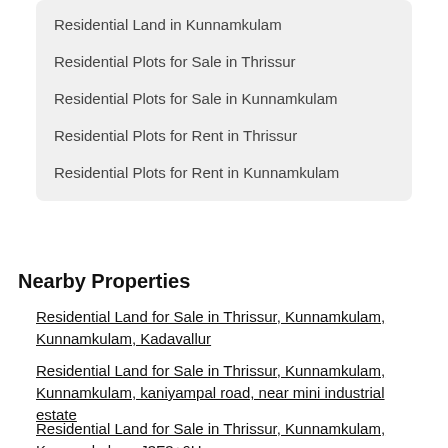Residential Land in Kunnamkulam
Residential Plots for Sale in Thrissur
Residential Plots for Sale in Kunnamkulam
Residential Plots for Rent in Thrissur
Residential Plots for Rent in Kunnamkulam
Nearby Properties
Residential Land for Sale in Thrissur, Kunnamkulam, Kunnamkulam, Kadavallur
Residential Land for Sale in Thrissur, Kunnamkulam, Kunnamkulam, kaniyampal road, near mini industrial estate
Residential Land for Sale in Thrissur, Kunnamkulam, Kunnamkulam, J3F3+6H